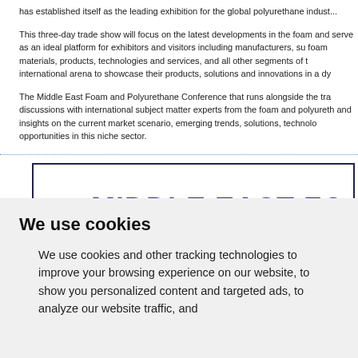has established itself as the leading exhibition for the global polyurethane indust...
This three-day trade show will focus on the latest developments in the foam and serve as an ideal platform for exhibitors and visitors including manufacturers, su foam materials, products, technologies and services, and all other segments of t international arena to showcase their products, solutions and innovations in a dy
The Middle East Foam and Polyurethane Conference that runs alongside the tra discussions with international subject matter experts from the foam and polyureth and insights on the current market scenario, emerging trends, solutions, technolo opportunities in this niche sector.
[Figure (other): Partial view of a banner/logo reading MIDDLE EAST FO... (truncated) in large bold dark blue uppercase text inside a bordered box]
We use cookies
We use cookies and other tracking technologies to improve your browsing experience on our website, to show you personalized content and targeted ads, to analyze our website traffic, and